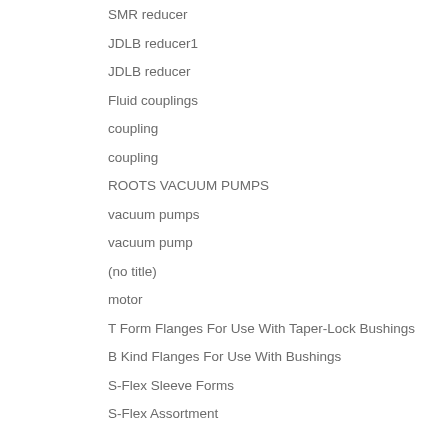SMR reducer
JDLB reducer1
JDLB reducer
Fluid couplings
coupling
coupling
ROOTS VACUUM PUMPS
vacuum pumps
vacuum pump
(no title)
motor
T Form Flanges For Use With Taper-Lock Bushings
B Kind Flanges For Use With Bushings
S-Flex Sleeve Forms
S-Flex Assortment